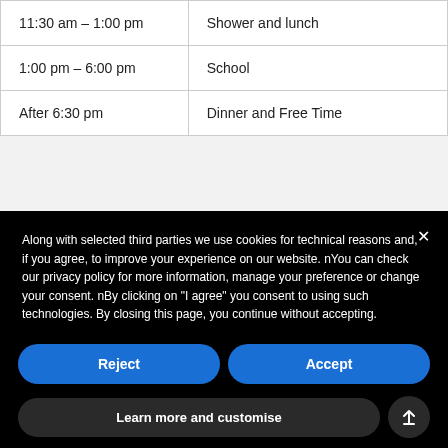| Time | Activity |
| --- | --- |
| 11:30 am – 1:00 pm | Shower and lunch |
| 1:00 pm – 6:00 pm | School |
| After 6:30 pm | Dinner and Free Time |
Along with selected third parties we use cookies for technical reasons and, if you agree, to improve your experience on our website. nYou can check our privacy policy for more information, manage your preference or change your consent. nBy clicking on "I agree" you consent to using such technologies. By closing this page, you continue without accepting.